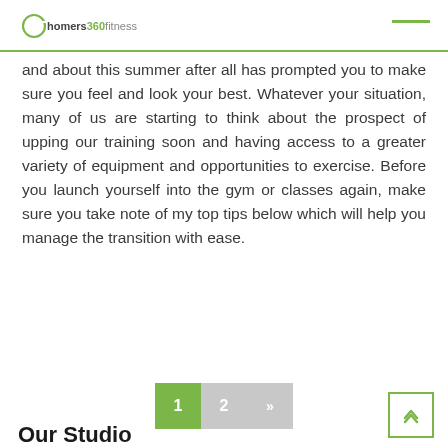homers360fitness
and about this summer after all has prompted you to make sure you feel and look your best. Whatever your situation, many of us are starting to think about the prospect of upping our training soon and having access to a greater variety of equipment and opportunities to exercise. Before you launch yourself into the gym or classes again, make sure you take note of my top tips below which will help you manage the transition with ease.
Read More
1  2  »
Our Studio